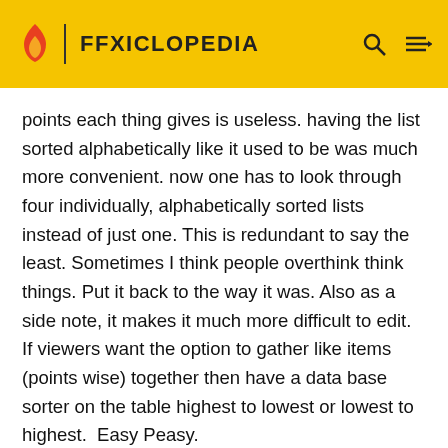FFXICLOPEDIA
points each thing gives is useless. having the list sorted alphabetically like it used to be was much more convenient. now one has to look through four individually, alphabetically sorted lists instead of just one. This is redundant to say the least. Sometimes I think people overthink think things. Put it back to the way it was. Also as a side note, it makes it much more difficult to edit. If viewers want the option to gather like items (points wise) together then have a data base sorter on the table highest to lowest or lowest to highest.  Easy Peasy.
Gobbie Mystery Box
0  2